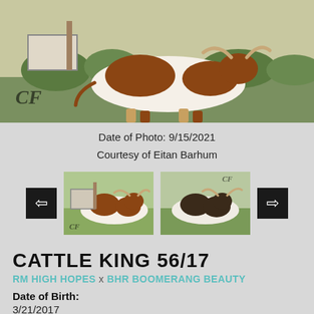[Figure (photo): Large photo of a longhorn cattle (brown and white) walking in a grassy field, with a 'CF' watermark in the lower left corner.]
Date of Photo: 9/15/2021
Courtesy of Eitan Barhum
[Figure (photo): Navigation row with left arrow button, two thumbnail photos of longhorn cattle (brown and white), and right arrow button.]
CATTLE KING 56/17
RM HIGH HOPES x BHR BOOMERANG BEAUTY
Date of Birth:
3/21/2017
Sex:
Male
Owner Name: